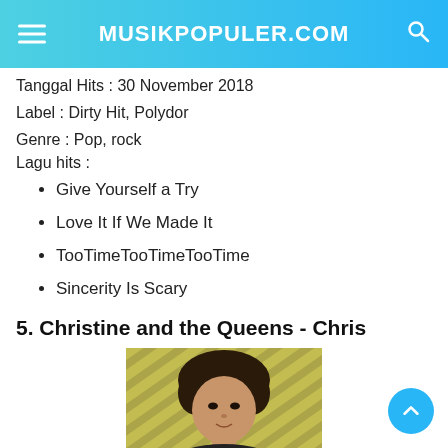MUSIKPOPULER.COM
Tanggal Hits : 30 November 2018
Label : Dirty Hit, Polydor
Genre : Pop, rock
Lagu hits :
Give Yourself a Try
Love It If We Made It
TooTimeTooTimeTooTime
Sincerity Is Scary
5. Christine and the Queens - Chris
[Figure (photo): Photo of Christine and the Queens - Chris album cover or artist portrait, person with dark hair against a yellow/green striped background]